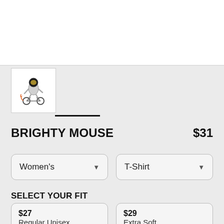[Figure (photo): White product image area at top of page]
[Figure (illustration): Thumbnail of robot astronaut character on motorcycle, small square image]
BRIGHTY MOUSE   $31
Women's
T-Shirt
SELECT YOUR FIT
$27
Regular Unisex
$29
Extra Soft